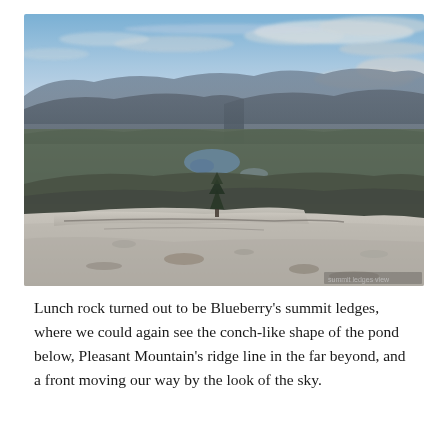[Figure (photo): Aerial landscape photo taken from a rocky mountain summit. In the foreground are flat granite ledges with sparse lichens and a small evergreen tree. The middle ground shows an expansive forested valley with a small conch-shaped pond visible. In the background are rolling mountain ridgelines and a wide sky with scattered clouds, suggesting an approaching weather front.]
Lunch rock turned out to be Blueberry's summit ledges, where we could again see the conch-like shape of the pond below, Pleasant Mountain's ridge line in the far beyond, and a front moving our way by the look of the sky.